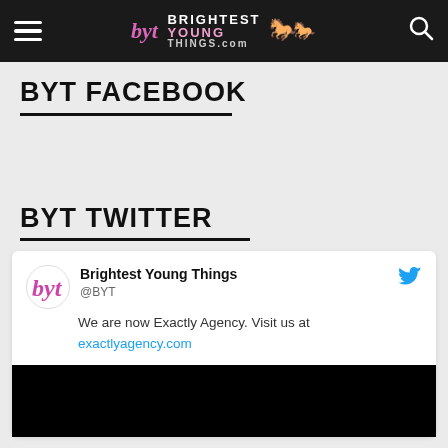BYT — Brightest Young Things (navigation header with logo, hamburger menu, search icon)
BYT FACEBOOK
BYT TWITTER
Brightest Young Things @BYT — We are now Exactly Agency. Visit us at exactlyagency.com
[Figure (screenshot): Black image area at the bottom of a Twitter card embed]